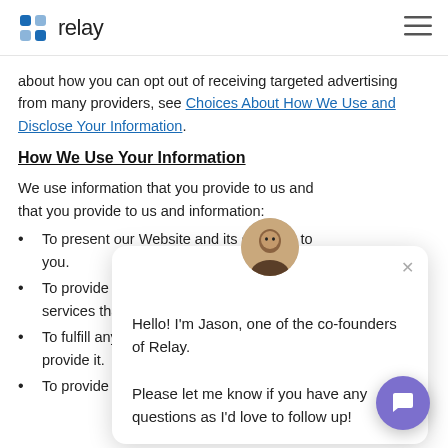relay
about how you can opt out of receiving targeted advertising from many providers, see Choices About How We Use and Disclose Your Information.
How We Use Your Information
We use information that you provide to us and information:
To present our Website and its contents to you.
To provide you with information, products, or services that you request from us.
To fulfill any other purpose for which you provide it.
To provide you with notices about your
[Figure (other): Chat popup overlay with avatar photo of Jason (co-founder of Relay). Message reads: Hello! I'm Jason, one of the co-founders of Relay. Please let me know if you have any questions as I'd love to follow up!]
[Figure (other): Purple circular chat button in bottom right corner]